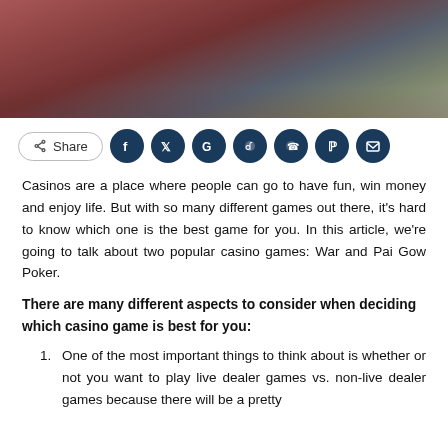[Figure (photo): Casino table photo showing a person's arm near a gaming table with blurred background]
[Figure (infographic): Share bar with Share button and social media icons: Facebook, Twitter, Google, Reddit, WhatsApp, Pinterest, Email]
Casinos are a place where people can go to have fun, win money and enjoy life. But with so many different games out there, it's hard to know which one is the best game for you. In this article, we're going to talk about two popular casino games: War and Pai Gow Poker.
There are many different aspects to consider when deciding which casino game is best for you:
One of the most important things to think about is whether or not you want to play live dealer games vs. non-live dealer games because there will be a pretty